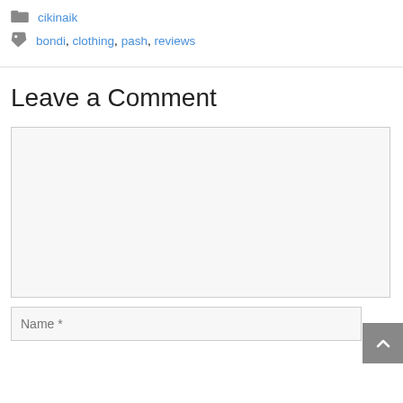cikinaik
bondi, clothing, pash, reviews
Leave a Comment
[Figure (screenshot): Comment text area input box, empty, with light gray background]
[Figure (screenshot): Name input field with placeholder text 'Name *']